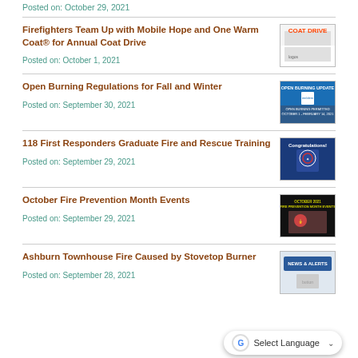Posted on: October 29, 2021
Firefighters Team Up with Mobile Hope and One Warm Coat® for Annual Coat Drive
Posted on: October 1, 2021
[Figure (photo): Coat Drive event image with orange text saying COAT DRIVE]
Open Burning Regulations for Fall and Winter
Posted on: September 30, 2021
[Figure (photo): Open Burning Update sign with text about open burning permitted October 1 - February 14, 2021]
118 First Responders Graduate Fire and Rescue Training
Posted on: September 29, 2021
[Figure (photo): Blue background with Congratulations text and fire/rescue emblems]
October Fire Prevention Month Events
Posted on: September 29, 2021
[Figure (photo): Dark background with October 2021 Fire Prevention Month Events text and photo of firefighter with child]
Ashburn Townhouse Fire Caused by Stovetop Burner
Posted on: September 28, 2021
[Figure (photo): News & Alerts banner image]